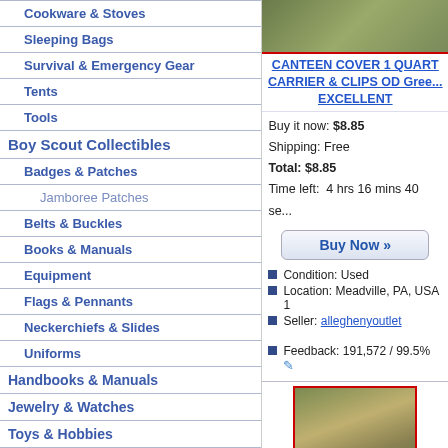Cookware & Stoves
Sleeping Bags
Survival & Emergency Gear
Tents
Tools
Boy Scout Collectibles
Badges & Patches
Jamboree Patches
Belts & Buckles
Books & Manuals
Equipment
Flags & Pennants
Neckerchiefs & Slides
Uniforms
Handbooks & Manuals
Jewelry & Watches
Toys & Hobbies
Coins & Tokens
Crafts & Craft Supplies
Halloween Costumes & Decor!
[Figure (photo): Canteen cover product photo]
CANTEEN COVER 1 QUART CARRIER & CLIPS OD Green EXCELLENT
Buy it now: $8.85
Shipping: Free
Total: $8.85
Time left: 4 hrs 16 mins 40 se...
Condition: Used
Location: Meadville, PA, USA 1
Seller: alleghenyoutlet
Feedback: 191,572 / 99.5%
[Figure (photo): US Military canteen and cover product photo]
USGI US MILITARY SURPLUS WATER CANTEEN AND CO...